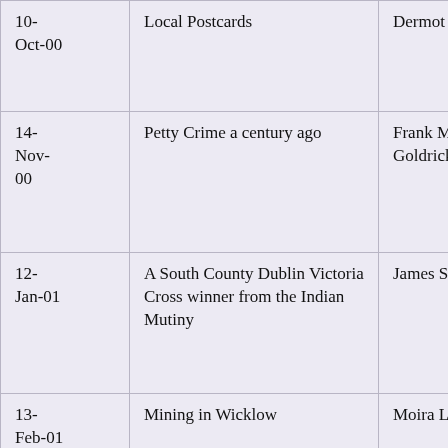| Date | Topic | Speaker |
| --- | --- | --- |
| 10-Oct-00 | Local Postcards | Dermot Kennedy |
| 14-Nov-00 | Petty Crime a century ago | Frank Mc Goldrick |
| 12-Jan-01 | A South County Dublin Victoria Cross winner from the Indian Mutiny | James Scannell |
| 13-Feb-01 | Mining in Wicklow | Moira Laffan |
| 13-Mar- | Sea Baths of South County Dublin | Seán Quinn |